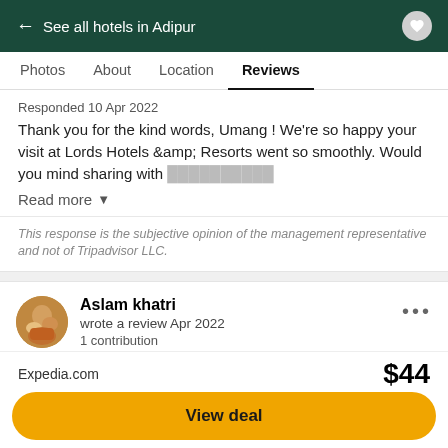← See all hotels in Adipur
Photos  About  Location  Reviews
Responded 10 Apr 2022
Thank you for the kind words, Umang! We're so happy your visit at Lords Hotels &amp; Resorts went so smoothly. Would you mind sharing with
Read more ▼
This response is the subjective opinion of the management representative and not of Tripadvisor LLC.
Aslam khatri
wrote a review Apr 2022
1 contribution
[Figure (other): Five green circle rating dots (full rating)]
Expedia.com   $44
View deal